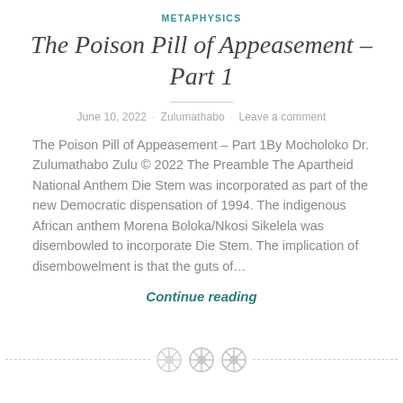METAPHYSICS
The Poison Pill of Appeasement – Part 1
June 10, 2022 · Zulumathabo · Leave a comment
The Poison Pill of Appeasement – Part 1By Mocholoko Dr. Zulumathabo Zulu © 2022 The Preamble The Apartheid National Anthem Die Stem was incorporated as part of the new Democratic dispensation of 1994. The indigenous African anthem Morena Boloka/Nkosi Sikelela was disembowled to incorporate Die Stem. The implication of disembowelment is that the guts of…
Continue reading